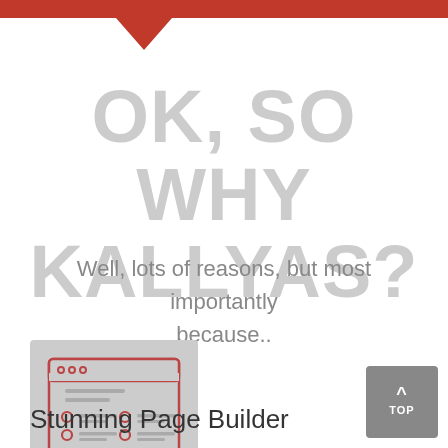OK, SO WHY KALLYAS?
Well, lots of reasons, but most importantly because..
[Figure (illustration): Icon of a browser/page builder window with red outline, showing dots in header bar, lines of text and radio-button style list items inside, on a grey background]
Stunning Page Builder